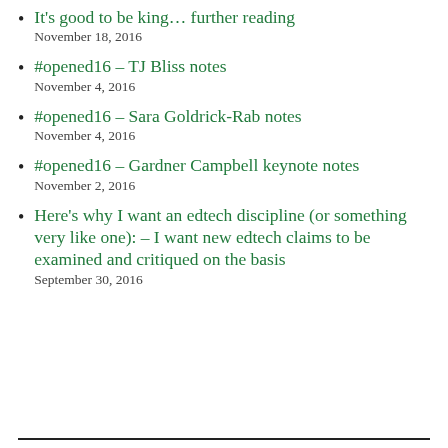It's good to be king… further reading
November 18, 2016
#opened16 – TJ Bliss notes
November 4, 2016
#opened16 – Sara Goldrick-Rab notes
November 4, 2016
#opened16 – Gardner Campbell keynote notes
November 2, 2016
Here's why I want an edtech discipline (or something very like one): – I want new edtech claims to be examined and critiqued on the basis
September 30, 2016